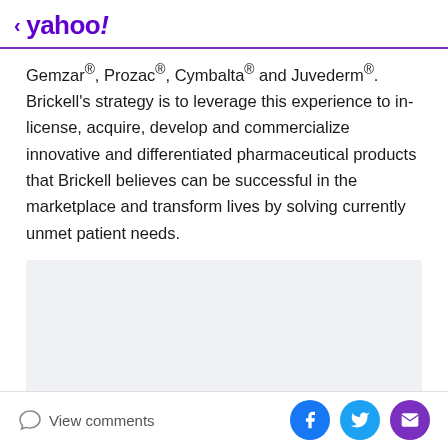< yahoo!
Gemzar®, Prozac®, Cymbalta® and Juvederm®. Brickell's strategy is to leverage this experience to in-license, acquire, develop and commercialize innovative and differentiated pharmaceutical products that Brickell believes can be successful in the marketplace and transform lives by solving currently unmet patient needs.
[Figure (other): Advertisement placeholder box with light gray background and 'Advertisement' label at bottom]
View comments | Facebook | Twitter | Email share icons